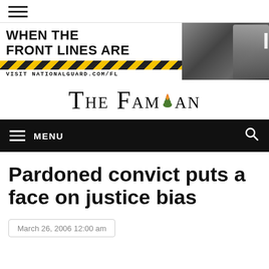≡ (hamburger menu)
[Figure (photo): National Guard advertisement banner: 'WHEN THE FRONT LINES ARE' with military photo on right side and yellow chevron stripe. Text: VISIT NATIONALGUARD.COM/FL]
THE FAMUAN
≡ MENU (search icon)
Pardoned convict puts a face on justice bias
March 26, 2006 12:00 am